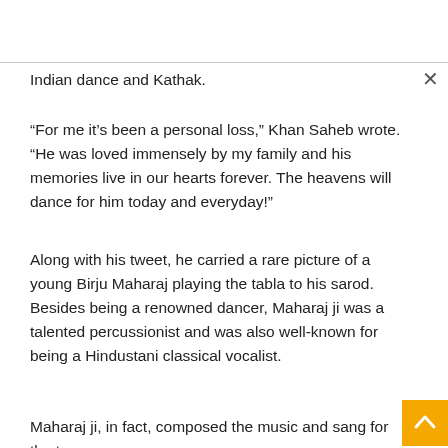Indian dance and Kathak.
“For me it’s been a personal loss,” Khan Saheb wrote. “He was loved immensely by my family and his memories live in our hearts forever. The heavens will dance for him today and everyday!”
Along with his tweet, he carried a rare picture of a young Birju Maharaj playing the tabla to his sarod. Besides being a renowned dancer, Maharaj ji was a talented percussionist and was also well-known for being a Hindustani classical vocalist.
Maharaj ji, in fact, composed the music and sang for the two